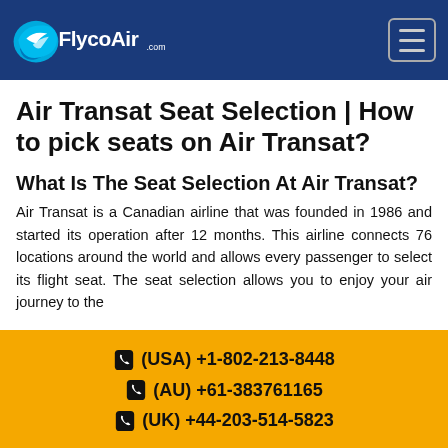FlycoAir.com
Air Transat Seat Selection | How to pick seats on Air Transat?
What Is The Seat Selection At Air Transat?
Air Transat is a Canadian airline that was founded in 1986 and started its operation after 12 months. This airline connects 76 locations around the world and allows every passenger to select its flight seat. The seat selection allows you to enjoy your air journey to the
(USA) +1-802-213-8448
(AU) +61-383761165
(UK) +44-203-514-5823